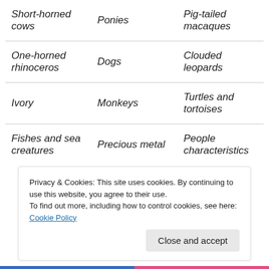| Short-horned cows | Ponies | Pig-tailed macaques |
| One-horned rhinoceros | Dogs | Clouded leopards |
| Ivory | Monkeys | Turtles and tortoises |
| Fishes and sea creatures | Precious metal | People characteristics |
Privacy & Cookies: This site uses cookies. By continuing to use this website, you agree to their use.
To find out more, including how to control cookies, see here: Cookie Policy